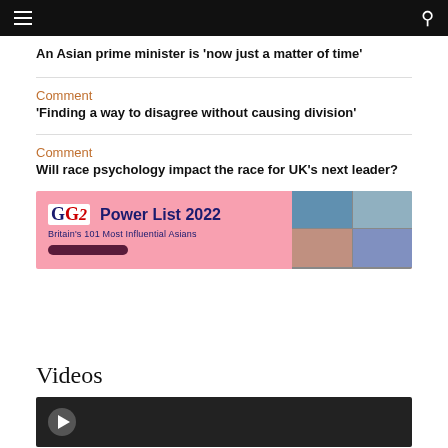An Asian prime minister is ‘now just a matter of time’
Comment
‘Finding a way to disagree without causing division’
Comment
Will race psychology impact the race for UK’s next leader?
[Figure (infographic): GG2 Power List 2022 advertisement banner - Britain's 101 Most Influential Asians, with grid of portrait photos on right side]
Videos
[Figure (screenshot): Video thumbnail with play button on dark background]